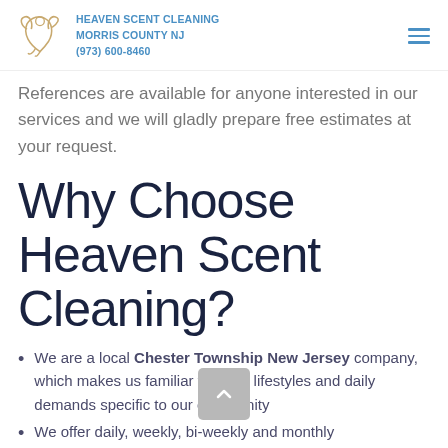HEAVEN SCENT CLEANING MORRIS COUNTY NJ (973) 600-8460
References are available for anyone interested in our services and we will gladly prepare free estimates at your request.
Why Choose Heaven Scent Cleaning?
We are a local Chester Township New Jersey company, which makes us familiar with the lifestyles and daily demands specific to our community
We offer daily, weekly, bi-weekly and monthly